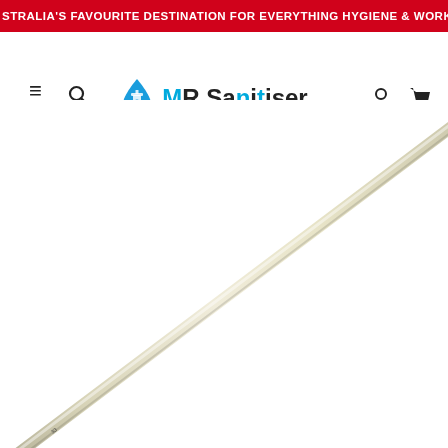AUSTRALIA'S FAVOURITE DESTINATION FOR EVERYTHING HYGIENE & WORKPLACE ES
[Figure (logo): MR Sanitiser website header with navigation: hamburger menu, search icon, MR Sanitiser logo with blue water drop, account icon, cart icon]
[Figure (photo): A long thin pale cream/beige stick or rod photographed diagonally from lower left to upper right against a white background]